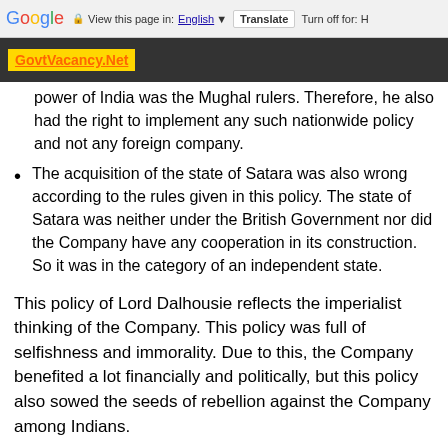Google  View this page in: English ▼  Translate  Turn off for: H
GovtVacancy.Net
power of India was the Mughal rulers. Therefore, he also had the right to implement any such nationwide policy and not any foreign company.
The acquisition of the state of Satara was also wrong according to the rules given in this policy. The state of Satara was neither under the British Government nor did the Company have any cooperation in its construction. So it was in the category of an independent state.
This policy of Lord Dalhousie reflects the imperialist thinking of the Company. This policy was full of selfishness and immorality. Due to this, the Company benefited a lot financially and politically, but this policy also sowed the seeds of rebellion against the Company among Indians.